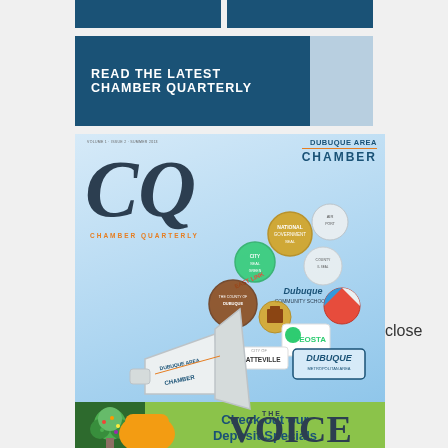[Figure (illustration): Two dark blue banner bars at the top of the page]
READ THE LATEST CHAMBER QUARTERLY
[Figure (illustration): Cover of Chamber Quarterly magazine featuring CQ logo, Dubuque Area Chamber branding, a hand holding a megaphone with various community logos/seals, 'THE VOICE OF THE BUSINESS COMMUNITY' text, and a green deposit specials advertisement banner at the bottom]
close